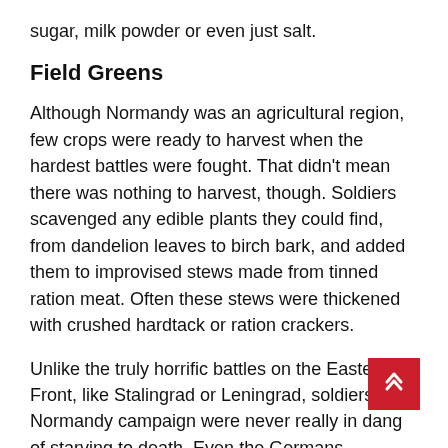sugar, milk powder or even just salt.
Field Greens
Although Normandy was an agricultural region, few crops were ready to harvest when the hardest battles were fought. That didn't mean there was nothing to harvest, though. Soldiers scavenged any edible plants they could find, from dandelion leaves to birch bark, and added them to improvised stews made from tinned ration meat. Often these stews were thickened with crushed hardtack or ration crackers.
Unlike the truly horrific battles on the Eastern Front, like Stalingrad or Leningrad, soldiers in Normandy campaign were never really in dang of starving to death. Even the Germans managed to deliver enough rations to keep their men